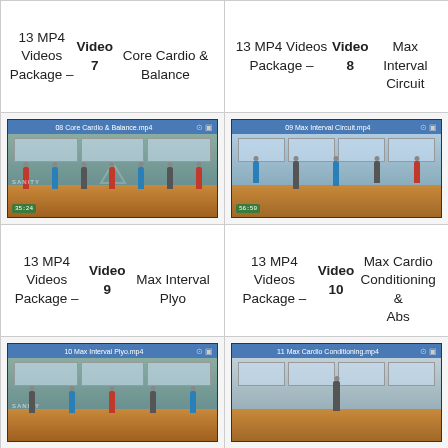13 MP4 Videos Package – Video 7 Core Cardio & Balance
13 MP4 Videos Package – Video 8 Max Interval Circuit
[Figure (screenshot): Screenshot of video player showing '08 Core Cardio & Balance.mp4' with timecode 35:24, gym setting with people exercising]
[Figure (screenshot): Screenshot of video player showing '09 Max Interval Circuit.mp4' with timecode 56:50, gym setting with people doing high-knee exercises]
13 MP4 Videos Package – Video 9 Max Interval Plyo
13 MP4 Videos Package – Video 10 Max Cardio Conditioning & Abs
[Figure (screenshot): Screenshot of video player showing '10 Max Interval Plyo.mp4', gym setting]
[Figure (screenshot): Screenshot of video player showing '11 Max Cardio Conditioning.mp4', gym setting with person raising arms]